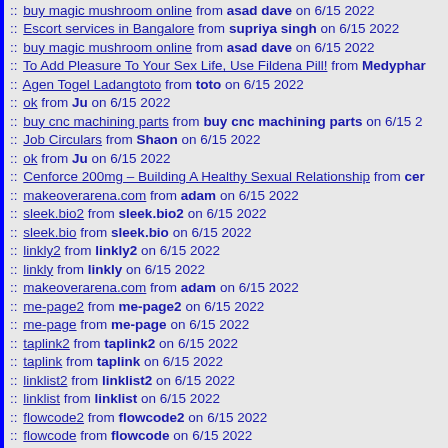:: buy magic mushroom online from asad dave on 6/15 2022
:: Escort services in Bangalore from supriya singh on 6/15 2022
:: buy magic mushroom online from asad dave on 6/15 2022
:: To Add Pleasure To Your Sex Life, Use Fildena Pill! from Medyphar
:: Agen Togel Ladangtoto from toto on 6/15 2022
:: ok from Ju on 6/15 2022
:: buy cnc machining parts from buy cnc machining parts on 6/15 2...
:: Job Circulars from Shaon on 6/15 2022
:: ok from Ju on 6/15 2022
:: Cenforce 200mg – Building A Healthy Sexual Relationship from cer
:: makeoverarena.com from adam on 6/15 2022
:: sleek.bio2 from sleek.bio2 on 6/15 2022
:: sleek.bio from sleek.bio on 6/15 2022
:: linkly2 from linkly2 on 6/15 2022
:: linkly from linkly on 6/15 2022
:: makeoverarena.com from adam on 6/15 2022
:: me-page2 from me-page2 on 6/15 2022
:: me-page from me-page on 6/15 2022
:: taplink2 from taplink2 on 6/15 2022
:: taplink from taplink on 6/15 2022
:: linklist2 from linklist2 on 6/15 2022
:: linklist from linklist on 6/15 2022
:: flowcode2 from flowcode2 on 6/15 2022
:: flowcode from flowcode on 6/15 2022
:: beacons2 from beacons2 on 6/15 2022
:: beacons from beacons on 6/15 2022
:: biolinky2 from biolinky2 on 6/15 2022
:: biolinky from biolinky on 6/15 2022
:: biol from biol on 6/15 2022
:: biol from biol on 6/15 2022